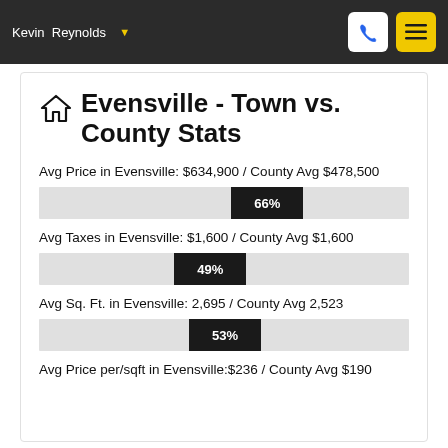Kevin Reynolds
Evensville - Town vs. County Stats
Avg Price in Evensville: $634,900 / County Avg $478,500
[Figure (bar-chart): Avg Price bar]
Avg Taxes in Evensville: $1,600 / County Avg $1,600
[Figure (bar-chart): Avg Taxes bar]
Avg Sq. Ft. in Evensville: 2,695 / County Avg 2,523
[Figure (bar-chart): Avg Sq Ft bar]
Avg Price per/sqft in Evensville:$236 / County Avg $190